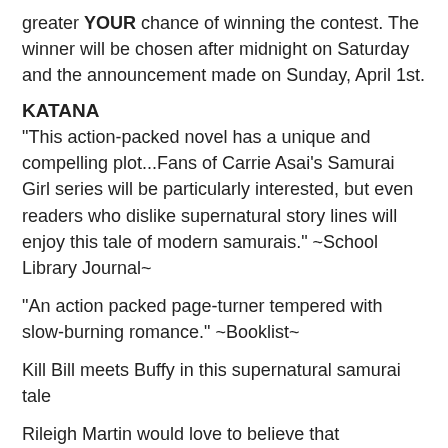greater YOUR chance of winning the contest. The winner will be chosen after midnight on Saturday and the announcement made on Sunday, April 1st.
KATANA
"This action-packed novel has a unique and compelling plot...Fans of Carrie Asai's Samurai Girl series will be particularly interested, but even readers who dislike supernatural story lines will enjoy this tale of modern samurais." ~School Library Journal~
"An action packed page-turner tempered with slow-burning romance." ~Booklist~
Kill Bill meets Buffy in this supernatural samurai tale
Rileigh Martin would love to believe that adrenaline gave her the uncanny courage and strength to fend off three muggers. But it doesn't explain her dreams of fifteenth century Japan, the incredible fighting skills she suddenly possesses, or the strange voice giving her battle tips and danger warnings. While worrying that she's going crazy (always a reputation